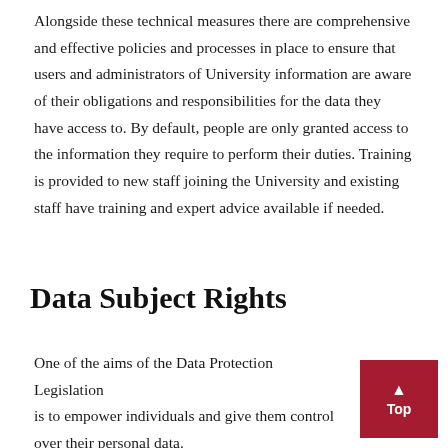Alongside these technical measures there are comprehensive and effective policies and processes in place to ensure that users and administrators of University information are aware of their obligations and responsibilities for the data they have access to. By default, people are only granted access to the information they require to perform their duties. Training is provided to new staff joining the University and existing staff have training and expert advice available if needed.
Data Subject Rights
One of the aims of the Data Protection Legislation is to empower individuals and give them control over their personal data.